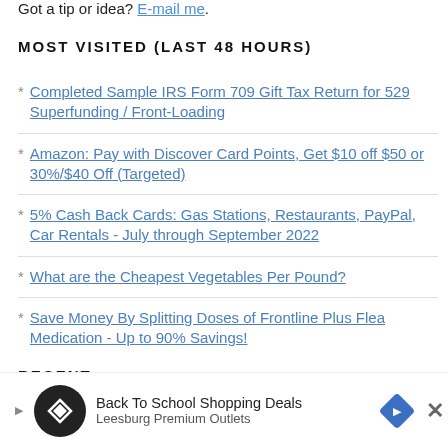Got a tip or idea? E-mail me.
MOST VISITED (LAST 48 HOURS)
Completed Sample IRS Form 709 Gift Tax Return for 529 Superfunding / Front-Loading
Amazon: Pay with Discover Card Points, Get $10 off $50 or 30%/$40 Off (Targeted)
5% Cash Back Cards: Gas Stations, Restaurants, PayPal, Car Rentals - July through September 2022
What are the Cheapest Vegetables Per Pound?
Save Money By Splitting Doses of Frontline Plus Flea Medication - Up to 90% Savings!
RECENT
[Figure (infographic): Advertisement banner: Back To School Shopping Deals - Leesburg Premium Outlets, with circular logo, navigation arrow icon, diamond-shaped outlet logo, and close button]